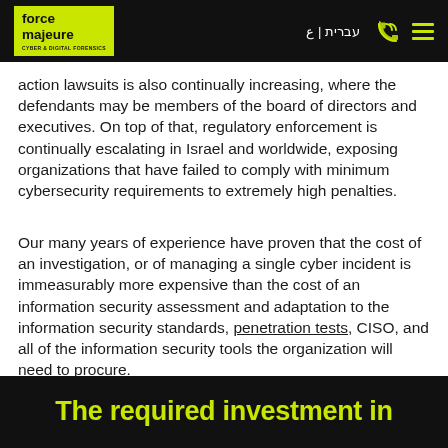force majeure CYBER & DIGITAL FORENSICS | עברית | ع
action lawsuits is also continually increasing, where the defendants may be members of the board of directors and executives. On top of that, regulatory enforcement is continually escalating in Israel and worldwide, exposing organizations that have failed to comply with minimum cybersecurity requirements to extremely high penalties.
Our many years of experience have proven that the cost of an investigation, or of managing a single cyber incident is immeasurably more expensive than the cost of an information security assessment and adaptation to the information security standards, penetration tests, CISO, and all of the information security tools the organization will need to procure.
The required investment in